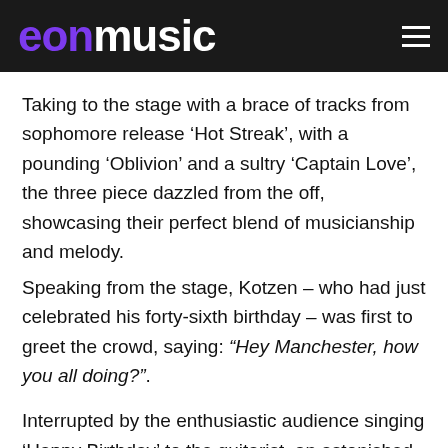eonmusic
Taking to the stage with a brace of tracks from sophomore release ‘Hot Streak’, with a pounding ‘Oblivion’ and a sultry ‘Captain Love’, the three piece dazzled from the off, showcasing their perfect blend of musicianship and melody.
Speaking from the stage, Kotzen – who had just celebrated his forty-sixth birthday – was first to greet the crowd, saying: “Hey Manchester, how you all doing?”.
Interrupted by the enthusiastic audience singing ‘Happy Birthday’ to the guitarist, an astonished Portnoy acknowledged the rousing reception that they were receiving, declaring: “F**k the other shows, it’s all about